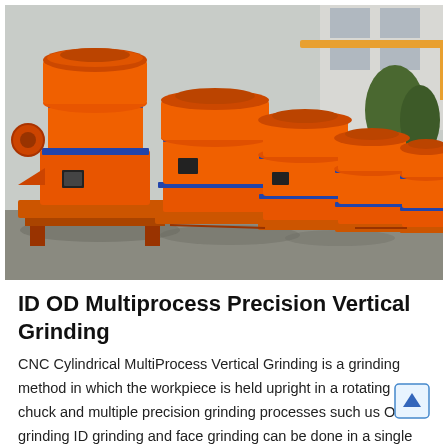[Figure (photo): Row of large orange industrial vertical grinding machines (CNC cylindrical multiprocess vertical grinders) with blue accent rings, lined up outdoors on a concrete surface at a manufacturing facility.]
ID OD Multiprocess Precision Vertical Grinding
CNC Cylindrical MultiProcess Vertical Grinding is a grinding method in which the workpiece is held upright in a rotating chuck and multiple precision grinding processes such us OD grinding ID grinding and face grinding can be done in a single chucking This kind of grinding method is